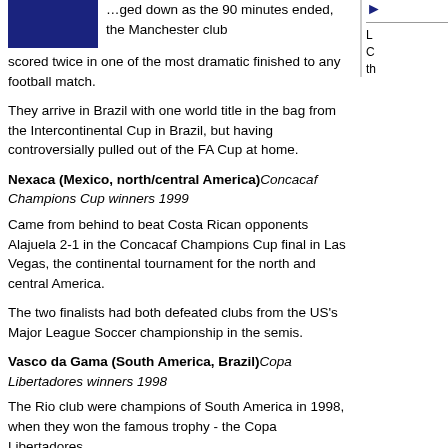…ged down as the 90 minutes ended, the Manchester club scored twice in one of the most dramatic finished to any football match.
They arrive in Brazil with one world title in the bag from the Intercontinental Cup in Brazil, but having controversially pulled out of the FA Cup at home.
Nexaca (Mexico, north/central America) Concacaf Champions Cup winners 1999
Came from behind to beat Costa Rican opponents Alajuela 2-1 in the Concacaf Champions Cup final in Las Vegas, the continental tournament for the north and central America.
The two finalists had both defeated clubs from the US's Major League Soccer championship in the semis.
Vasco da Gama (South America, Brazil) Copa Libertadores winners 1998
The Rio club were champions of South America in 1998, when they won the famous trophy - the Copa Libertadores.
But the path to starring on their own stage in Rio began as far ago as 1997, with the Brazilian league title handing them their Libertadores passport.
Hot-tempered striker Edmundo has even had time to